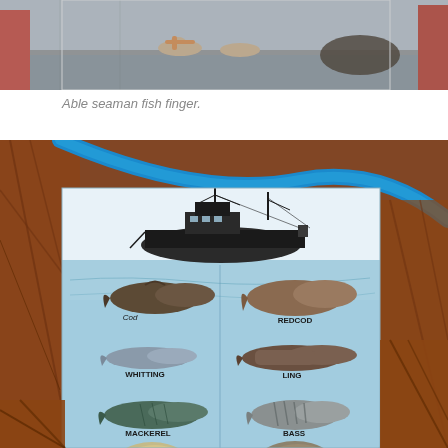[Figure (photo): Top portion of a photo showing people on a boat deck, feet and shoes visible, red equipment in background.]
Able seaman fish finger.
[Figure (photo): Photo of a fishing vessel with a fish identification chart/poster showing cod, redcod, whitting, ling, mackerel, bass, dab, flounder, 3 bearded rockling, eel, coalfish, pollack. The poster is held against fishing nets and ropes on a boat.]